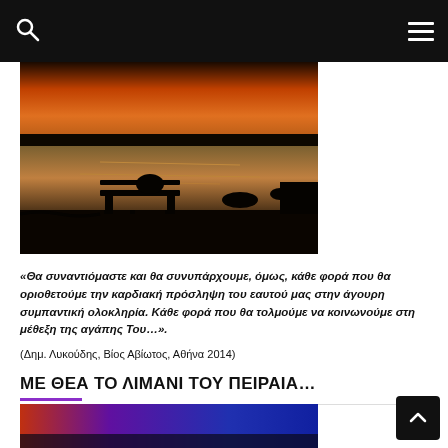Navigation bar with search icon and menu icon
[Figure (photo): Sunset photo of a harbor bench by the waterside with silhouettes and orange sky reflected on the water]
«Θα συναντιόμαστε και θα συνυπάρχουμε, όμως, κάθε φορά που θα οριοθετούμε την καρδιακή πρόσληψη του εαυτού μας στην άγουρη συμπαντική ολοκληρία. Κάθε φορά που θα τολμούμε να κοινωνούμε στη μέθεξη της αγάπης Του…».
(Δημ. Λυκούδης, Βίος Αβίωτος, Αθήνα 2014)
ΜΕ ΘΕΑ ΤΟ ΛΙΜΑΝΙ ΤΟΥ ΠΕΙΡΑΙΑ…
[Figure (photo): Partial view of a blue-toned night harbor image at the bottom of the page]